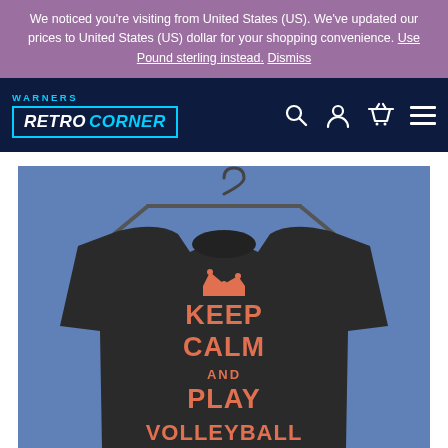We noticed you're visiting from United States (US). We've updated our prices to United States (US) dollar for your shopping convenience. Use Pound sterling instead. Dismiss
[Figure (logo): Warners Retro Corner logo in dark navy navigation bar with cyan/teal accent colors, search, account, basket and menu icons]
[Figure (photo): Dark grey sweatshirt on a hanger against a blue background, printed with orange text reading KEEP CALM AND PLAY VOLLEYBALL with a crown graphic]